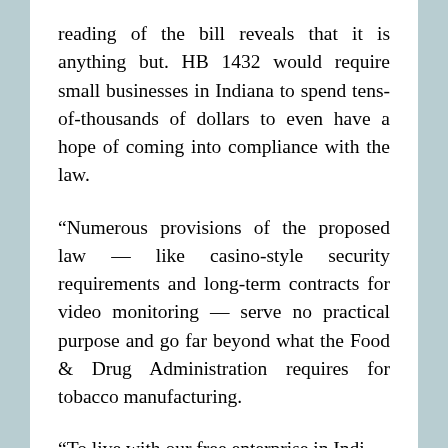reading of the bill reveals that it is anything but. HB 1432 would require small businesses in Indiana to spend tens-of-thousands of dollars to even have a hope of coming into compliance with the law.
“Numerous provisions of the proposed law — like casino-style security requirements and long-term contracts for video monitoring — serve no practical purpose and go far beyond what the Food & Drug Administration requires for tobacco manufacturing.
“To live with our free enterprise in Indi...